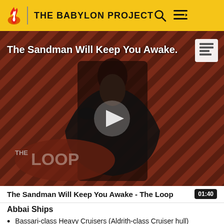THE BABYLON PROJECT
[Figure (screenshot): Video thumbnail for 'The Sandman Will Keep You Awake - The Loop' showing a darkly dressed figure against a diagonal striped red/brown background with THE LOOP logo overlay and a play button in the center.]
The Sandman Will Keep You Awake - The Loop  01:40
Abbai Ships
Bassari-class Heavy Cruisers (Aldrith-class Cruiser hull)